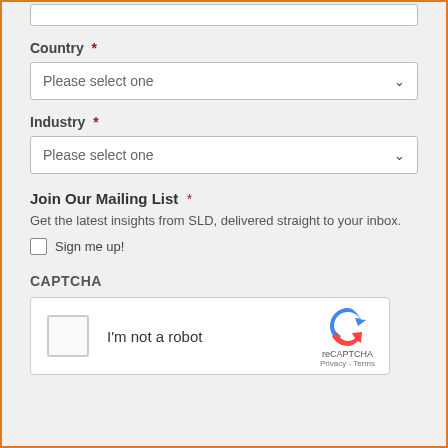Country *
Please select one
Industry *
Please select one
Join Our Mailing List *
Get the latest insights from SLD, delivered straight to your inbox.
Sign me up!
CAPTCHA
[Figure (screenshot): reCAPTCHA widget showing a checkbox labeled 'I'm not a robot' with reCAPTCHA logo, Privacy and Terms links]